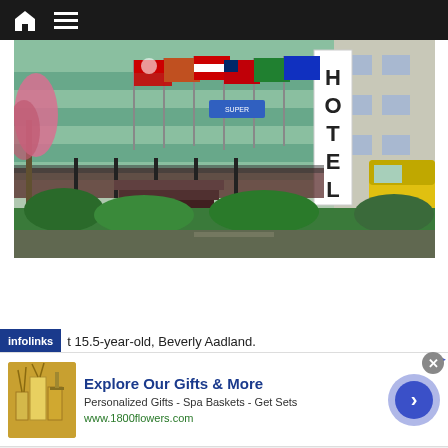Navigation bar with home icon and menu icon
[Figure (photo): Exterior photo of a hotel building with multiple international flags flying out front, a large vertical HOTEL sign on the right side of the building, pink flowering trees on the left, a yellow truck partially visible on the right, and lush green landscaping in the foreground.]
...t 15.5-year-old, Beverly Aadland.
[Figure (infographic): Infolinks advertisement overlay banner. Contains 'infolinks' label in blue, text '...t 15.5-year-old, Beverly Aadland.' and below it an advertisement for 1800flowers.com. Ad shows gift product image on left, headline 'Explore Our Gifts & More', subtext 'Personalized Gifts - Spa Baskets - Get Sets', URL 'www.1800flowers.com', and a blue arrow button on the right. Close button (X) in gray circle at top right.]